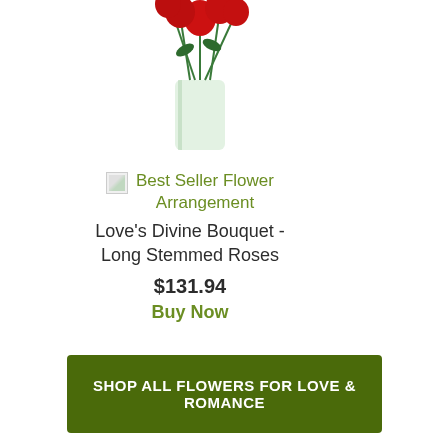[Figure (photo): Partial view of a flower arrangement in a glass vase with red roses, cropped at the top of the page]
[Figure (photo): Small broken/missing thumbnail image icon for Best Seller Flower Arrangement product]
Best Seller Flower Arrangement
Love's Divine Bouquet - Long Stemmed Roses
$131.94
Buy Now
SHOP ALL FLOWERS FOR LOVE & ROMANCE